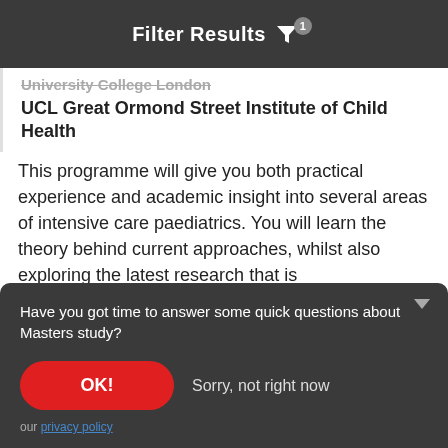Filter Results
University College London
UCL Great Ormond Street Institute of Child Health
This programme will give you both practical experience and academic insight into several areas of intensive care paediatrics. You will learn the theory behind current approaches, whilst also exploring the latest research that is
Have you got time to answer some quick questions about Masters study?
OK!
Sorry, not right now
our privacy policy